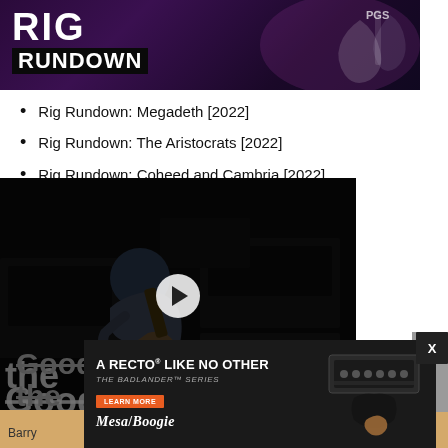[Figure (photo): Rig Rundown banner with musicians playing guitars on a dark purple-lit stage background, with bold white text RIG RUNDOWN]
Rig Rundown: Megadeth [2022]
Rig Rundown: The Aristocrats [2022]
Rig Rundown: Coheed and Cambria [2022]
[Figure (screenshot): Video player showing a guitarist playing a Stratocaster-style guitar surrounded by amplifiers, with a play button overlay and dark overlay. Partially overlapping article title text visible.]
...he Good, the Right, and the Ugly
Barry ... 1, 2022
[Figure (photo): Advertisement overlay: Mesa/Boogie Badlander Series amp ad. Text reads: A RECTO LIKE NO OTHER / THE BADLANDER SERIES / LEARN MORE / MESA/BOOGIE with photo of amplifier head and guitarist]